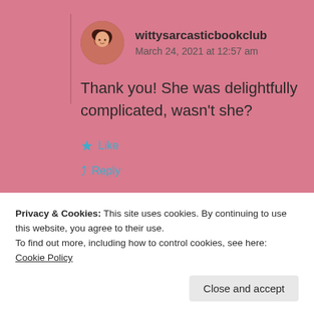[Figure (photo): Circular avatar photo of a woman with dark hair against the comment background]
wittysarcasticbookclub
March 24, 2021 at 12:57 am
Thank you! She was delightfully complicated, wasn't she?
Like
Reply
Privacy & Cookies: This site uses cookies. By continuing to use this website, you agree to their use.
To find out more, including how to control cookies, see here: Cookie Policy
Close and accept